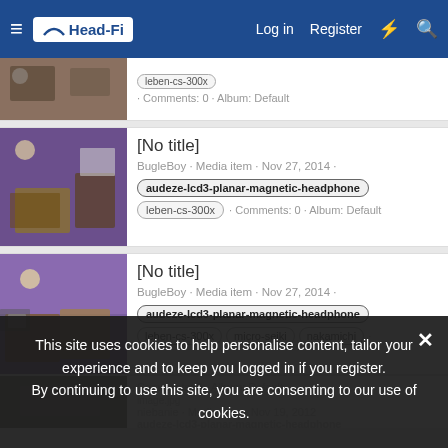Head-Fi | Log in | Register
[Figure (screenshot): Partial media list item showing a thumbnail of headphone equipment and tags: leben-cs-300x, Comments: 0, Album: Default]
[No title]
BugleBoy · Media item · Nov 27, 2014 · audeze-lcd3-planar-magnetic-headphone · leben-cs-300x · Comments: 0 · Album: Default
[No title]
BugleBoy · Media item · Nov 27, 2014 · audeze-lcd3-planar-magnetic-headphone · leben-cs-300x · micro-seiki · nakamichi · Comments: 0 · Album: Default
image.jpg
niebanie · Media item · Nov 19, 2012 · audeze-lcd3-planar-magnetic-headphone
This site uses cookies to help personalise content, tailor your experience and to keep you logged in if you register. By continuing to use this site, you are consenting to our use of cookies.